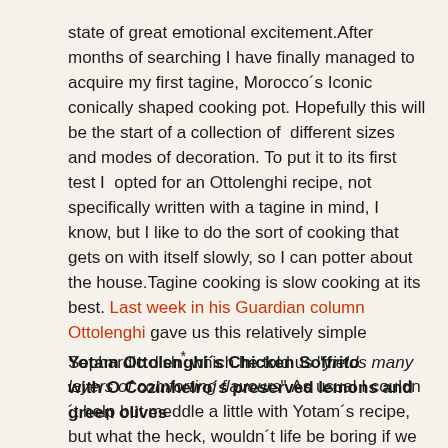state of great emotional excitement.After months of searching I have finally managed to acquire my first tagine, Morocco´s Iconic conically shaped cooking pot. Hopefully this will be the start of a collection of  different sizes and modes of decoration. To put it to its first test I  opted for an Ottolenghi recipe, not specifically written with a tagine in mind, I know, but I like to do the sort of cooking that gets on with itself slowly, so I can potter about the house.Tagine cooking is slow cooking at its best. Last week in his Guardian column Ottolenghi gave us this relatively simple Sephardic dish* which he told us "yields many layers of comforting flavours".As usual I couldn´t help but meddle a little with Yotam´s recipe, but what the heck, wouldn´t life be boring if we just replicated each others work.You have to, you do don´t you,you do:
Yotam Ottolenghi´s Chicken Soffrito with O Cozinheiro´s preserved lemons and green olives